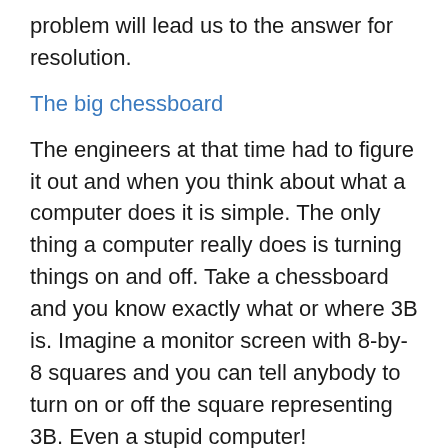problem will lead us to the answer for resolution.
The big chessboard
The engineers at that time had to figure it out and when you think about what a computer does it is simple. The only thing a computer really does is turning things on and off. Take a chessboard and you know exactly what or where 3B is. Imagine a monitor screen with 8-by-8 squares and you can tell anybody to turn on or off the square representing 3B. Even a stupid computer!
On those first monochrome monitors you could in fact see the raster and those little squares. The letters had to be drawn in ways to work with these squares.
Since then not much has really changed simply because computers still only do one thing. Exactly, turning on and off things and a raster is maybe not the only way but most efficient way you can tell a